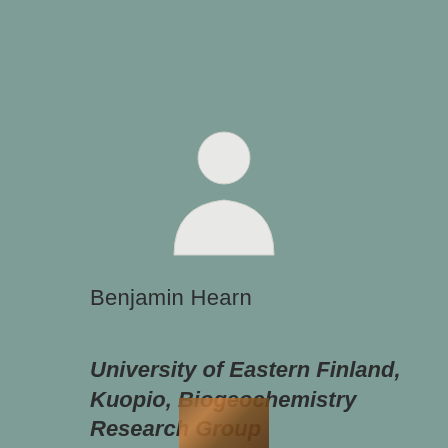[Figure (illustration): Generic user/person avatar icon — white silhouette of a person (circle head above rounded torso) on a muted teal-green background]
Benjamin Hearn
University of Eastern Finland, Kuopio, Biogeochemistry Research Group
[Figure (photo): Small partial thumbnail of a photo at the bottom center of the page]